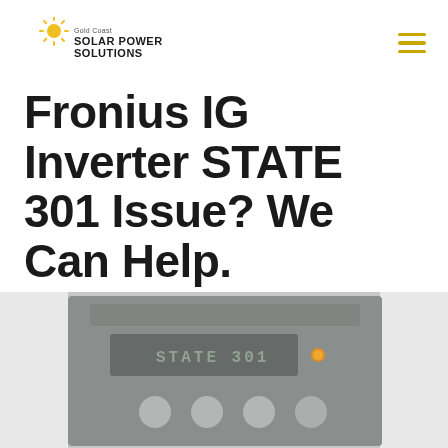Gold Coast Solar Power Solutions
Fronius IG Inverter STATE 301 Issue? We Can Help.
[Figure (photo): Close-up photo of a Fronius IG inverter front panel display showing STATE 301 error code on an LCD screen with an amber status LED and four circular control buttons below.]